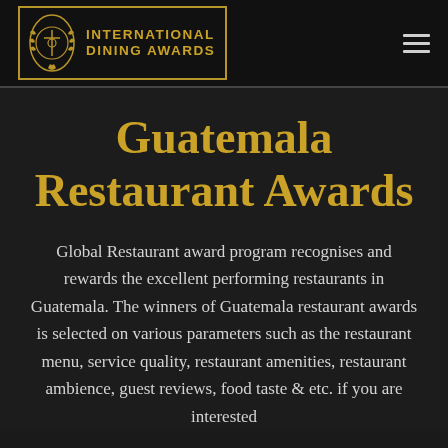INTERNATIONAL DINING AWARDS
Guatemala Restaurant Awards
Global Restaurant award program recognises and rewards the excellent performing restaurants in Guatemala. The winners of Guatemala restaurant awards is selected on various parameters such as the restaurant menu, service quality, restaurant amenities, restaurant ambience, guest reviews, food taste & etc. if you are interested